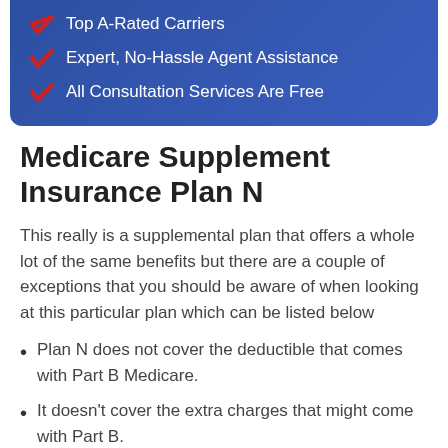[Figure (infographic): Blue banner with red checkmarks and white text listing: Top A-Rated Carriers, Expert, No-Hassle Agent Assistance, All Consultation Services Are Free]
Medicare Supplement Insurance Plan N
This really is a supplemental plan that offers a whole lot of the same benefits but there are a couple of exceptions that you should be aware of when looking at this particular plan which can be listed below
Plan N does not cover the deductible that comes with Part B Medicare.
It doesn't cover the extra charges that might come with Part B.
So, what this means is that you would be responsible